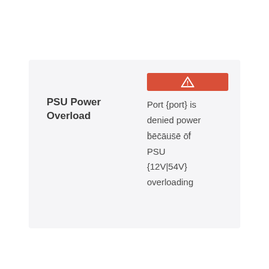| Alert Name | Severity | Description |
| --- | --- | --- |
| PSU Power Overload | ⚠ (warning/error) | Port {port} is denied power because of PSU {12V|54V} overloading |